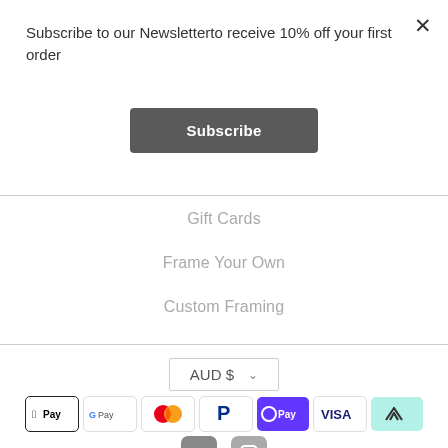×
Subscribe to our Newsletterto receive 10% off your first order
Subscribe
Gift Cards
Frame Your Own
Custom Framing
AUD $
[Figure (other): Payment method icons: Apple Pay, Google Pay, Mastercard, PayPal, OPay, Visa, Afterpay]
[Figure (other): Social media icons: Facebook, Instagram]